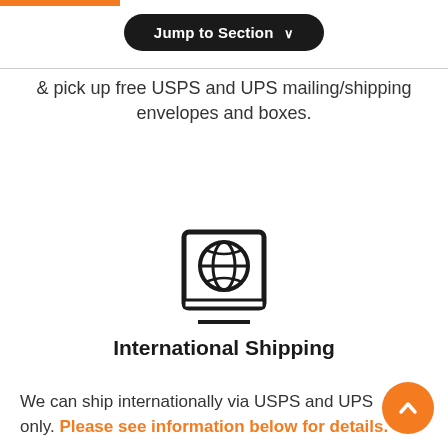& pick up free USPS and UPS mailing/shipping envelopes and boxes.
[Figure (illustration): Icon of a passport/book with a globe symbol on the cover]
International Shipping
We can ship internationally via USPS and UPS only. Please see information below for details.